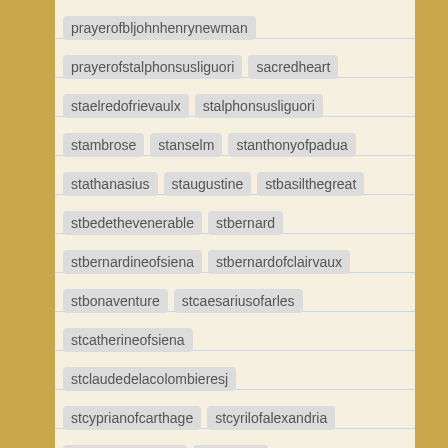prayerofbljohnhenrynewman
prayerofstalphonsusliguori  sacredheart
staelredofrievaulx  stalphonsusliguori
stambrose  stanselm  stanthonyofpadua
stathanasius  staugustine  stbasilthegreat
stbedethevenerable  stbernard
stbernardineofsiena  stbernardofclairvaux
stbonaventure  stcaesariusofarles
stcatherineofsiena
stclaudedelacolombieresj
stcyprianofcarthage  stcyrilofalexandria
stcyrilofjerusalem  stephrem